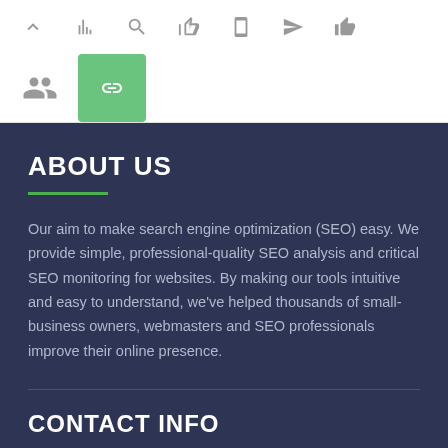Navigation icons row 1 and row 2 with active link icon
ABOUT US
Our aim to make search engine optimization (SEO) easy. We provide simple, professional-quality SEO analysis and critical SEO monitoring for websites. By making our tools intuitive and easy to understand, we've helped thousands of small-business owners, webmasters and SEO professionals improve their online presence.
CONTACT INFO